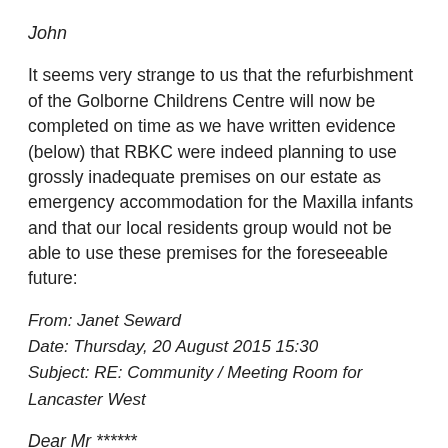John
It seems very strange to us that the refurbishment of the Golborne Childrens Centre will now be completed on time as we have written evidence (below) that RBKC were indeed planning to use grossly inadequate premises on our estate as emergency accommodation for the Maxilla infants and that our local residents group would not be able to use these premises for the foreseeable future:
From: Janet Seward
Date: Thursday, 20 August 2015 15:30
Subject: RE: Community / Meeting Room for Lancaster West
Dear Mr ******
Your enquiry has been referred to me as I am overseeing